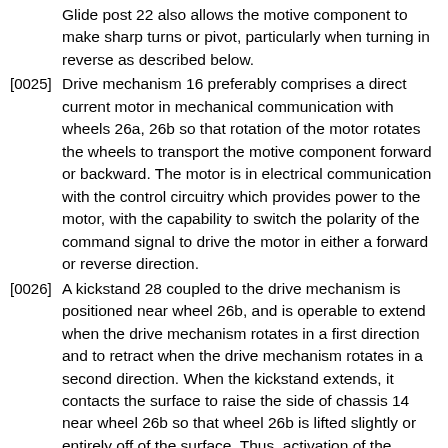Glide post 22 also allows the motive component to make sharp turns or pivot, particularly when turning in reverse as described below.
[0025] Drive mechanism 16 preferably comprises a direct current motor in mechanical communication with wheels 26a, 26b so that rotation of the motor rotates the wheels to transport the motive component forward or backward. The motor is in electrical communication with the control circuitry which provides power to the motor, with the capability to switch the polarity of the command signal to drive the motor in either a forward or reverse direction.
[0026] A kickstand 28 coupled to the drive mechanism is positioned near wheel 26b, and is operable to extend when the drive mechanism rotates in a first direction and to retract when the drive mechanism rotates in a second direction. When the kickstand extends, it contacts the surface to raise the side of chassis 14 near wheel 26b so that wheel 26b is lifted slightly or entirely off of the surface. Thus, activation of the kickstand effectively disables the associated wheel so that